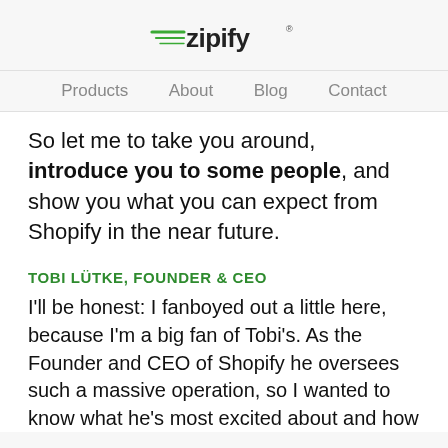zipify
Products   About   Blog   Contact
So let me to take you around, introduce you to some people, and show you what you can expect from Shopify in the near future.
TOBI LÜTKE, FOUNDER & CEO
I'll be honest: I fanboyed out a little here, because I'm a big fan of Tobi's. As the Founder and CEO of Shopify he oversees such a massive operation, so I wanted to know what he's most excited about and how